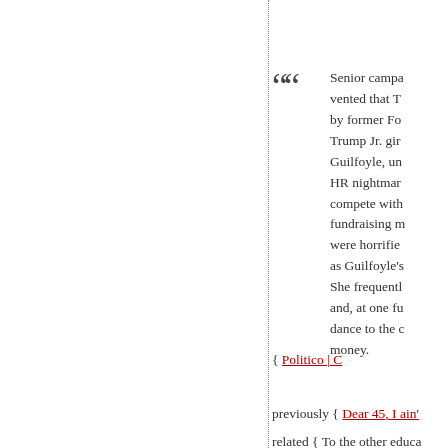Senior campa... vented that T... by former Fo... Trump Jr. gir... Guilfoyle, un... HR nightmar... compete with... fundraising m... were horrifie... as Guilfoyle's... She frequentl... and, at one fu... dance to the c... money.
{ Politico | C...
previously { Dear 45, I ain'...
related { To the other educa... Giuliani's recent press conf... learn about Hazard Comm...